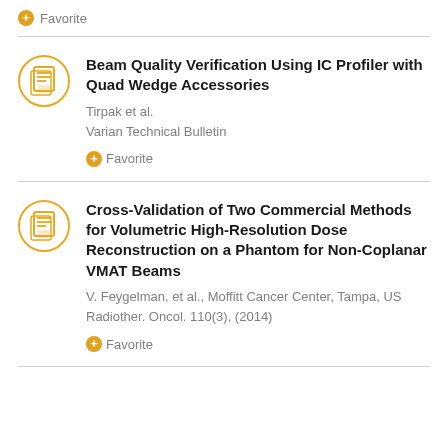+ Favorite
Beam Quality Verification Using IC Profiler with Quad Wedge Accessories
Tirpak et al.
Varian Technical Bulletin
+ Favorite
Cross-Validation of Two Commercial Methods for Volumetric High-Resolution Dose Reconstruction on a Phantom for Non-Coplanar VMAT Beams
V. Feygelman, et al., Moffitt Cancer Center, Tampa, US
Radiother. Oncol. 110(3), (2014)
+ Favorite